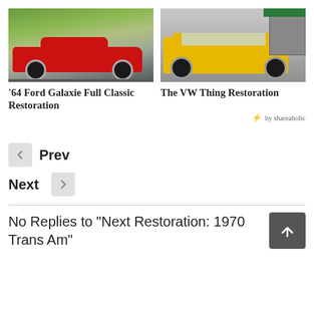[Figure (photo): Red 1964 Ford Galaxie classic car parked outdoors with green hills in background]
[Figure (photo): Yellow VW Thing convertible parked in front of a building with green awning]
'64 Ford Galaxie Full Classic Restoration
The VW Thing Restoration
by shareaholic
Prev
Next
No Replies to "Next Restoration: 1970 Trans Am"